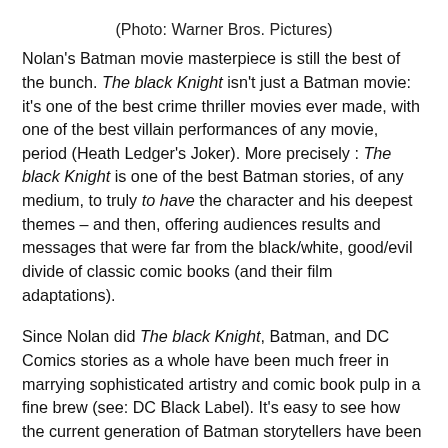(Photo: Warner Bros. Pictures)
Nolan's Batman movie masterpiece is still the best of the bunch. The black Knight isn't just a Batman movie: it's one of the best crime thriller movies ever made, with one of the best villain performances of any movie, period (Heath Ledger's Joker). More precisely : The black Knight is one of the best Batman stories, of any medium, to truly to have the character and his deepest themes – and then, offering audiences results and messages that were far from the black/white, good/evil divide of classic comic books (and their film adaptations).
Since Nolan did The black Knight, Batman, and DC Comics stories as a whole have been much freer in marrying sophisticated artistry and comic book pulp in a fine brew (see: DC Black Label). It's easy to see how the current generation of Batman storytellers have been influenced by Nolan's work – especially The black Knight.